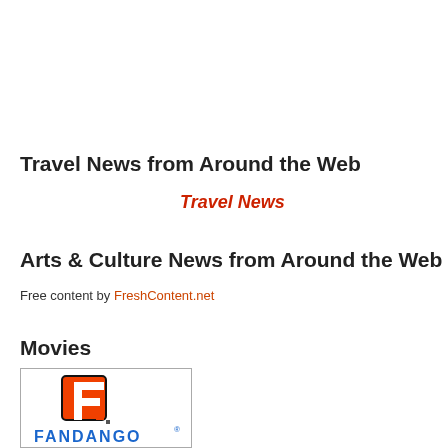Travel News from Around the Web
Travel News
Arts & Culture News from Around the Web
Free content by FreshContent.net
Movies
[Figure (logo): Fandango logo with red F icon and blue FANDANGO text]